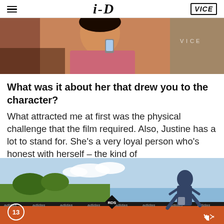i-D / VICE
[Figure (photo): Photo of a person holding a phone, partially visible, in a crowded setting. Pink/warm tones.]
What was it about her that drew you to the character?
What attracted me at first was the physical challenge that the film required. Also, Justine has a lot to stand for. She's a very loyal person who's honest with herself – the kind of
[Figure (photo): Video player screenshot showing a runner on a track wearing Adidas gear. Badge showing '13' in circle. Diamond badge with 'RDS' text. Adidas logos along bottom fence. Mute icon visible bottom right.]